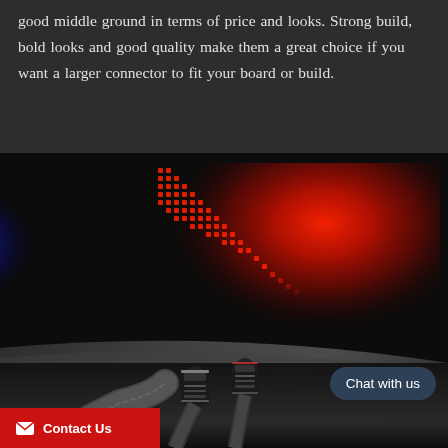good middle ground in terms of price and looks. Strong build, bold looks and good quality make them a great choice if you want a larger connector to fit your board or build.
[Figure (photo): Close-up photo of audio cables with braided black connectors resting on a dark metallic surface, with a red LED equalizer/spectrum display glowing in the background]
Chat with us
Contact Us